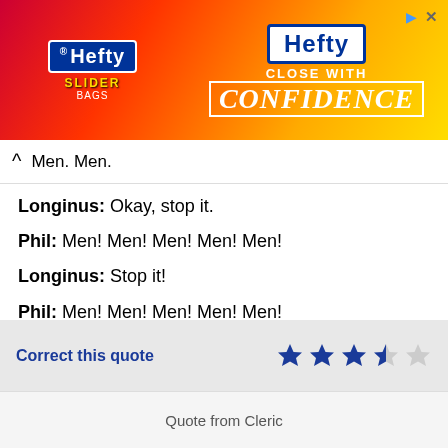[Figure (illustration): Hefty Slider Bags advertisement banner with pink/red/yellow gradient background, Hefty logo on left side with slider bag product image, and 'Hefty Close With CONFIDENCE' text on right side]
Men. Men.
Longinus: Okay, stop it.
Phil: Men! Men! Men! Men! Men!
Longinus: Stop it!
Phil: Men! Men! Men! Men! Men!
Longinus: Stop it! Stop it!
Phil: Men! Men! Men! Men!
Correct this quote
Quote from Cleric